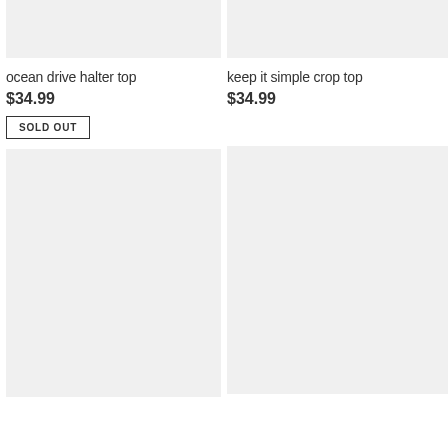[Figure (photo): Product image placeholder for ocean drive halter top (top, cropped)]
[Figure (photo): Product image placeholder for keep it simple crop top (top, cropped)]
ocean drive halter top
$34.99
SOLD OUT
keep it simple crop top
$34.99
[Figure (photo): Product image placeholder bottom left]
[Figure (photo): Product image placeholder bottom right]